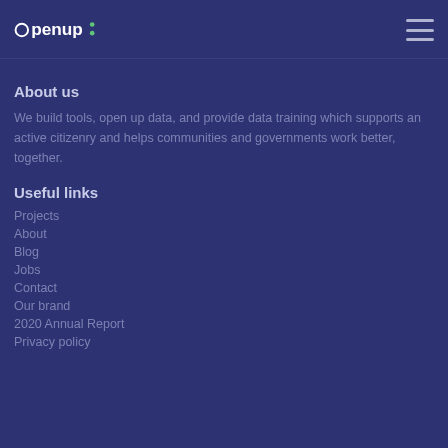openup: [logo] [hamburger menu]
About us
We build tools, open up data, and provide data training which supports an active citizenry and helps communities and governments work better, together.
Useful links
Projects
About
Blog
Jobs
Contact
Our brand
2020 Annual Report
Privacy policy